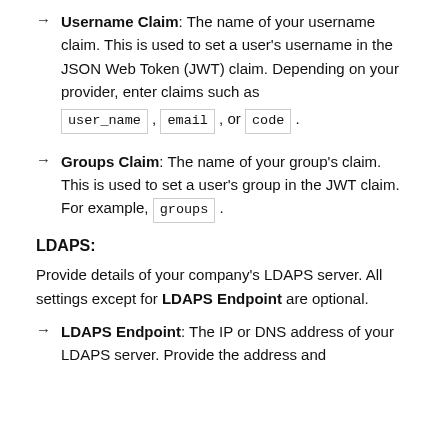Username Claim: The name of your username claim. This is used to set a user's username in the JSON Web Token (JWT) claim. Depending on your provider, enter claims such as user_name, email, or code.
Groups Claim: The name of your group's claim. This is used to set a user's group in the JWT claim. For example, groups.
LDAPS:
Provide details of your company's LDAPS server. All settings except for LDAPS Endpoint are optional.
LDAPS Endpoint: The IP or DNS address of your LDAPS server. Provide the address and